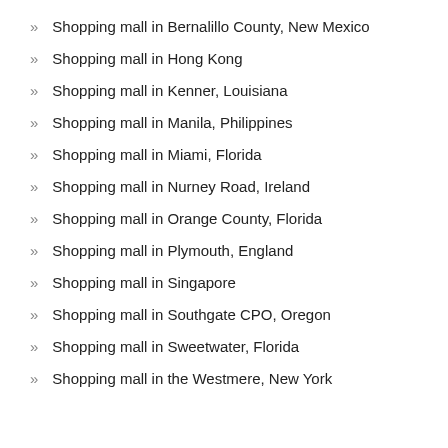Shopping mall in Bernalillo County, New Mexico
Shopping mall in Hong Kong
Shopping mall in Kenner, Louisiana
Shopping mall in Manila, Philippines
Shopping mall in Miami, Florida
Shopping mall in Nurney Road, Ireland
Shopping mall in Orange County, Florida
Shopping mall in Plymouth, England
Shopping mall in Singapore
Shopping mall in Southgate CPO, Oregon
Shopping mall in Sweetwater, Florida
Shopping mall in the Westmere, New York